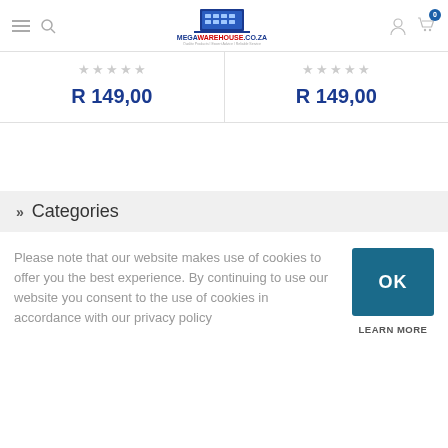[Figure (logo): MegaWarehouse.co.za logo with building graphic and tagline 'Quality Products | Expert Advice | Reliable Service']
R 149,00
R 149,00
» Categories
Please note that our website makes use of cookies to offer you the best experience. By continuing to use our website you consent to the use of cookies in accordance with our privacy policy